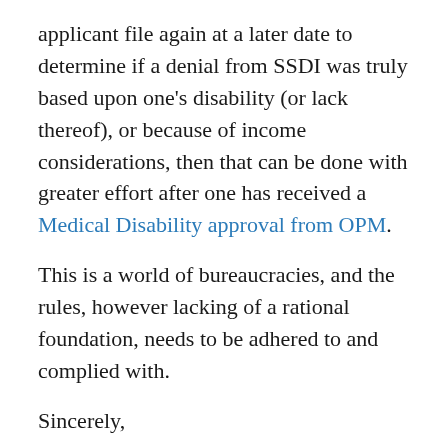applicant file again at a later date to determine if a denial from SSDI was truly based upon one's disability (or lack thereof), or because of income considerations, then that can be done with greater effort after one has received a Medical Disability approval from OPM.
This is a world of bureaucracies, and the rules, however lacking of a rational foundation, needs to be adhered to and complied with.
Sincerely,
Robert R. McGill, Esquire
September 18, 2014  Leave a Reply
Federal and Postal Disability